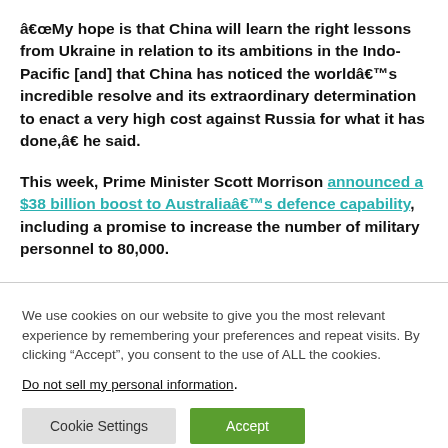â€œMy hope is that China will learn the right lessons from Ukraine in relation to its ambitions in the Indo-Pacific [and] that China has noticed the worldâ€™s incredible resolve and its extraordinary determination to enact a very high cost against Russia for what it has done,â€ he said.
This week, Prime Minister Scott Morrison announced a $38 billion boost to Australiaâ€™s defence capability, including a promise to increase the number of military personnel to 80,000.
We use cookies on our website to give you the most relevant experience by remembering your preferences and repeat visits. By clicking “Accept”, you consent to the use of ALL the cookies. Do not sell my personal information.